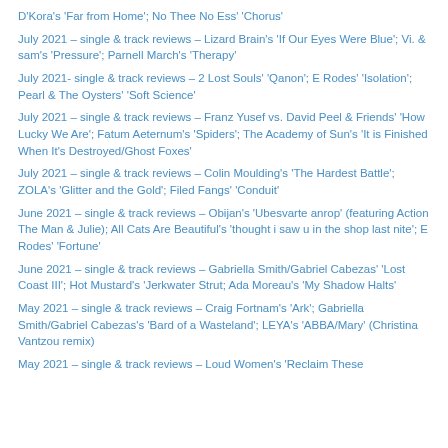D'Kora's 'Far from Home'; No Thee No Ess' 'Chorus'
July 2021 – single & track reviews – Lizard Brain's 'If Our Eyes Were Blue'; Vi. & sam's 'Pressure'; Parnell March's 'Therapy'
July 2021- single & track reviews – 2 Lost Souls' 'Qanon'; E Rodes' 'Isolation'; Pearl & The Oysters' 'Soft Science'
July 2021 – single & track reviews – Franz Yusef vs. David Peel & Friends' 'How Lucky We Are'; Fatum Aeternum's 'Spiders'; The Academy of Sun's 'It is Finished When It's Destroyed/Ghost Foxes'
July 2021 – single & track reviews – Colin Moulding's 'The Hardest Battle'; ZOLA's 'Glitter and the Gold'; Filed Fangs' 'Conduit'
June 2021 – single & track reviews – Obijan's 'Ubesvarte anrop' (featuring Action The Man & Julie); All Cats Are Beautiful's 'thought i saw u in the shop last nite'; E Rodes' 'Fortune'
June 2021 – single & track reviews – Gabriella Smith/Gabriel Cabezas' 'Lost Coast III'; Hot Mustard's 'Jerkwater Strut; Ada Moreau's 'My Shadow Halts'
May 2021 – single & track reviews – Craig Fortnam's 'Ark'; Gabriella Smith/Gabriel Cabezas's 'Bard of a Wasteland'; LEYA's 'ABBA/Mary' (Christina Vantzou remix)
May 2021 – single & track reviews – Loud Women's 'Reclaim These'